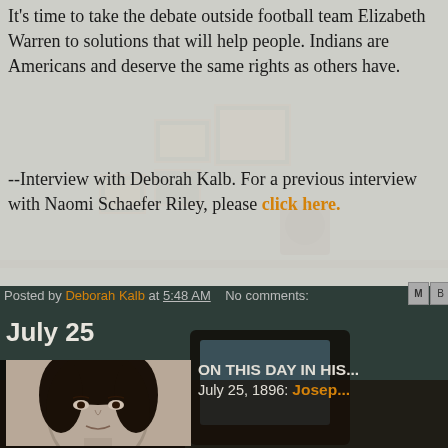It's time to take the debate outside football team Elizabeth Warren to solutions that will help people. Indians are Americans and deserve the same rights as others have.
--Interview with Deborah Kalb. For a previous interview with Naomi Schaefer Riley, please click here.
Posted by Deborah Kalb at 5:48 AM   No comments:
July 25
[Figure (photo): Black and white portrait photograph of a woman with dark hair styled in a 1930s/1940s fashion, looking directly at the camera]
ON THIS DAY IN HIS... July 25, 1896: Joseph...